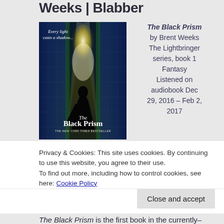Weeks | Blabber
[Figure (photo): Book cover of The Black Prism by Brent Weeks. Shows a dark silhouetted figure in a cloak standing in an archway of light between blue-tiled walls. Text reads 'Every light casts a shadow...' and 'The Black Prism THE NEW YORK TIMES BESTSELLER'.]
The Black Prism by Brent Weeks The Lightbringer series, book 1 Fantasy Listened on audiobook Dec 29, 2016 – Feb 2, 2017
Privacy & Cookies: This site uses cookies. By continuing to use this website, you agree to their use.
To find out more, including how to control cookies, see here: Cookie Policy
Close and accept
The Black Prism is the first book in the currently–